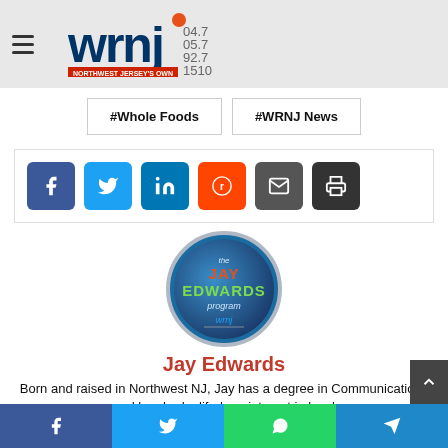WRNJ – Northwest Jersey's Own – 104.7 / 105.7 / 92.7 / 1510
#Whole Foods
#WRNJ News
[Figure (infographic): Social share buttons: Facebook, Twitter, LinkedIn, Reddit, Email, Print]
[Figure (logo): The Jay Edwards Program – WRNJ circular logo with blue gradient background, text reading 'the JAY EDWARDS program' and 'wrnj']
Jay Edwards
Born and raised in Northwest NJ, Jay has a degree in Communications and has had a life-long interest in local...
[Figure (infographic): Bottom share bar: Facebook, Twitter, WhatsApp, Telegram]